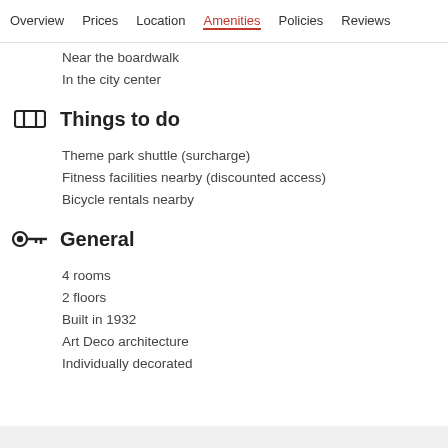Overview  Prices  Location  Amenities  Policies  Reviews
Near the boardwalk
In the city center
Things to do
Theme park shuttle (surcharge)
Fitness facilities nearby (discounted access)
Bicycle rentals nearby
General
4 rooms
2 floors
Built in 1932
Art Deco architecture
Individually decorated